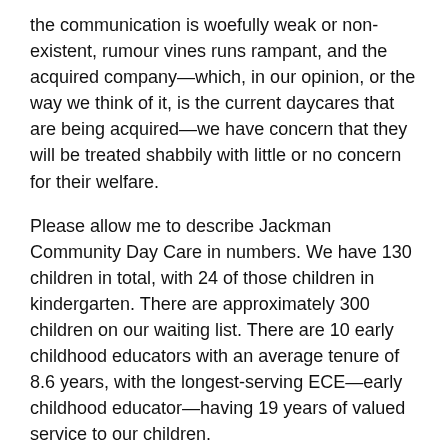the communication is woefully weak or non-existent, rumour vines runs rampant, and the acquired company—which, in our opinion, or the way we think of it, is the current daycares that are being acquired—we have concern that they will be treated shabbily with little or no concern for their welfare.
Please allow me to describe Jackman Community Day Care in numbers. We have 130 children in total, with 24 of those children in kindergarten. There are approximately 300 children on our waiting list. There are 10 early childhood educators with an average tenure of 8.6 years, with the longest-serving ECE—early childhood educator—having 19 years of valued service to our children.
With that preamble, please allow me to list my concerns:
(1) Please don't throw out the proverbial baby with the bathwater. This daycare has existed for 25 years. It is highly valued and has deep and abiding roots in my community. It